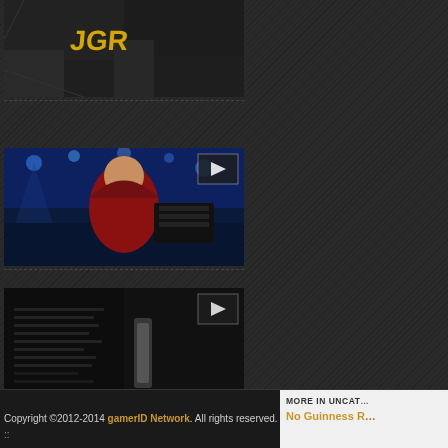[Figure (screenshot): Black and white image with yellow graffiti text, appears to be a dark urban/music scene thumbnail]
[Figure (screenshot): Video thumbnail showing a man in a red hoodie laughing in front of a blue-lit stage or arena, with a play button overlay]
[Figure (screenshot): Dark video thumbnail showing electronic equipment or consoles, with a play button overlay]
Copyright ©2012-2014 gamerID Network. All rights reserved.
MORE IN UNCAT
No Guinness R